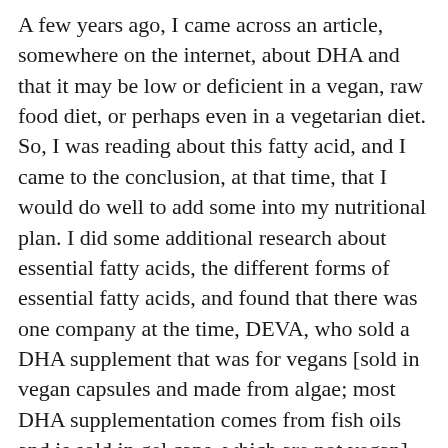A few years ago, I came across an article, somewhere on the internet, about DHA and that it may be low or deficient in a vegan, raw food diet, or perhaps even in a vegetarian diet. So, I was reading about this fatty acid, and I came to the conclusion, at that time, that I would do well to add some into my nutritional plan. I did some additional research about essential fatty acids, the different forms of essential fatty acids, and found that there was one company at the time, DEVA, who sold a DHA supplement that was for vegans [sold in vegan capsules and made from algae; most DHA supplementation comes from fish oils and is sold in gel caps, which are not vegan]. However, I decided that the DEVA product was too expensive, and decided to try using flaxseed oil [as flaxseed oil was also recommended for essential fatty acids for vegans/vegetarians], but gave that up after a